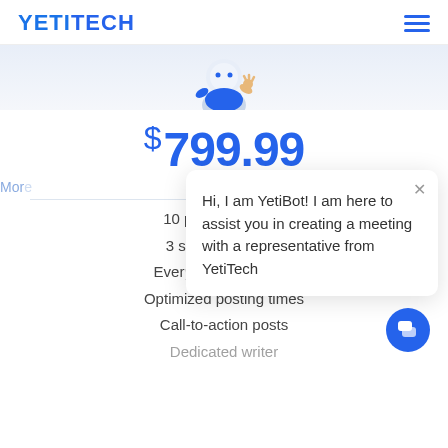YETITECH
[Figure (illustration): Partial yeti/robot mascot character illustration, upper body visible, wearing blue and white outfit]
$ 799.99
More
10 po...
3 social p...
Every...
Optimized posting times
Call-to-action posts
Dedicated writer
[Figure (screenshot): Chat popup overlay: 'Hi, I am YetiBot! I am here to assist you in creating a meeting with a representative from YetiTech']
[Figure (other): Chat bubble button (blue circle with chat icon) in bottom right corner]